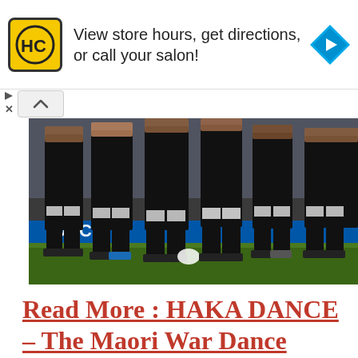[Figure (screenshot): Advertisement banner with HC (Hair Club) logo in yellow circle, text 'View store hours, get directions, or call your salon!' and a blue navigation arrow icon on the right]
[Figure (photo): Rugby players in black uniforms and socks performing the Haka dance on a grass field. Cropped at torso/legs level, showing multiple players in a crouched stance.]
Read More : HAKA DANCE – The Maori War Dance from New Zealand